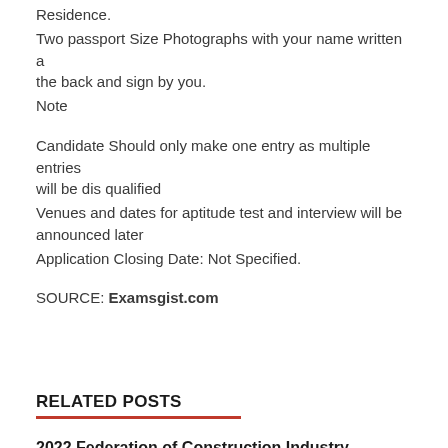Residence.
Two passport Size Photographs with your name written a the back and sign by you.
Note
Candidate Should only make one entry as multiple entries will be dis qualified
Venues and dates for aptitude test and interview will be announced later
Application Closing Date: Not Specified.
SOURCE: Examsgist.com
RELATED POSTS
2022 Federation of Construction Industry University Scholarship Awards